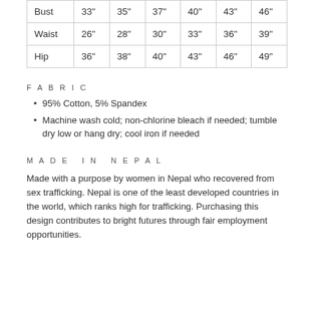|  |  |  |  |  |  |  |
| --- | --- | --- | --- | --- | --- | --- |
| Bust | 33" | 35" | 37" | 40" | 43" | 46" |
| Waist | 26" | 28" | 30" | 33" | 36" | 39" |
| Hip | 36" | 38" | 40" | 43" | 46" | 49" |
FABRIC
95% Cotton, 5% Spandex
Machine wash cold; non-chlorine bleach if needed; tumble dry low or hang dry; cool iron if needed
MADE IN NEPAL
Made with a purpose by women in Nepal who recovered from sex trafficking. Nepal is one of the least developed countries in the world, which ranks high for trafficking. Purchasing this design contributes to bright futures through fair employment opportunities.